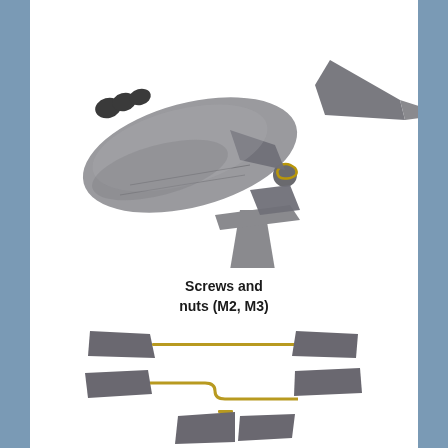[Figure (photo): Photo of a model aircraft tail section with propeller blades and a nosecone piece separated, showing assembly components including a brass spring/retention clip. The aircraft body is grey plastic.]
Screws and nuts (M2, M3)
[Figure (photo): Three rows showing propeller blade assemblies with brass wire/rod connecting sets of grey angled blades, displayed in exploded/disassembled view to show how components fit together.]